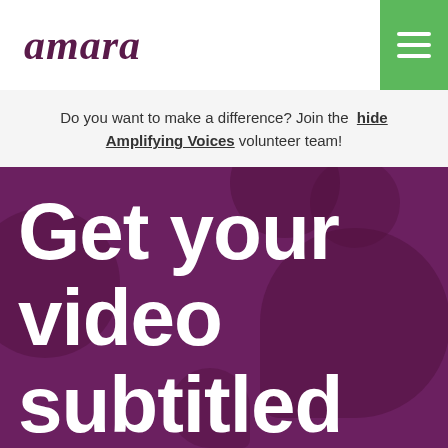amara
Do you want to make a difference? Join the hide Amplifying Voices volunteer team!
Get your video subtitled